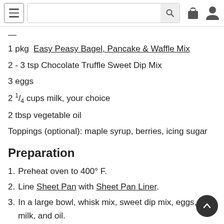Navigation bar with hamburger menu, search box, bag icon, and user icon
1 pkg  Easy Peasy Bagel, Pancake & Waffle Mix
2 - 3 tsp Chocolate Truffle Sweet Dip Mix
3 eggs
2 ¼ cups milk, your choice
2 tbsp vegetable oil
Toppings (optional): maple syrup, berries, icing sugar
Preparation
1. Preheat oven to 400° F.
2. Line Sheet Pan with Sheet Pan Liner.
3. In a large bowl, whisk mix, sweet dip mix, eggs, milk, and oil.
4. Pour batter into pan. Using 3-in-1 Spatula, spread evenly into corners. Gently tap the pan on the kitchen counter a few times to help even out the